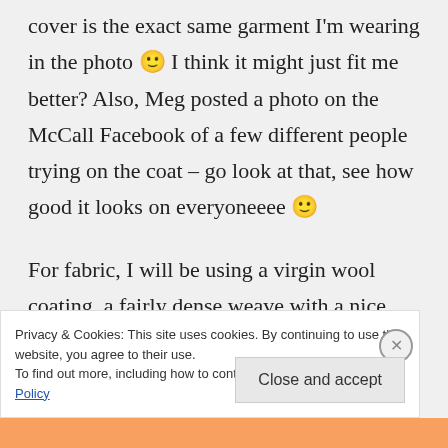cover is the exact same garment I'm wearing in the photo 🙂 I think it might just fit me better? Also, Meg posted a photo on the McCall Facebook of a few different people trying on the coat – go look at that, see how good it looks on everyoneeee 🙂
For fabric, I will be using a virgin wool coating, a fairly dense weave with a nice body that's not too stiff. I'll also be underlining my pieces.
Privacy & Cookies: This site uses cookies. By continuing to use this website, you agree to their use.
To find out more, including how to control cookies, see here: Cookie Policy